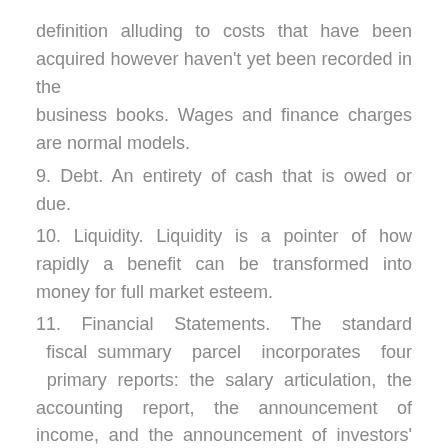definition alluding to costs that have been acquired however haven't yet been recorded in the business books. Wages and finance charges are normal models.
9. Debt. An entirety of cash that is owed or due.
10. Liquidity. Liquidity is a pointer of how rapidly a benefit can be transformed into money for full market esteem.
11. Financial Statements. The standard fiscal summary parcel incorporates four primary reports: the salary articulation, the accounting report, the announcement of income, and the announcement of investors' value, on the off